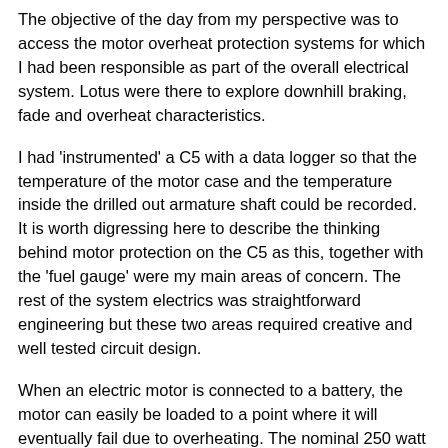The objective of the day from my perspective was to access the motor overheat protection systems for which I had been responsible as part of the overall electrical system. Lotus were there to explore downhill braking, fade and overheat characteristics.
I had 'instrumented' a C5 with a data logger so that the temperature of the motor case and the temperature inside the drilled out armature shaft could be recorded. It is worth digressing here to describe the thinking behind motor protection on the C5 as this, together with the 'fuel gauge' were my main areas of concern. The rest of the system electrics was straightforward engineering but these two areas required creative and well tested circuit design.
When an electric motor is connected to a battery, the motor can easily be loaded to a point where it will eventually fail due to overheating. The nominal 250 watt rating of the C5 motor is a measure of its shaft output peak power which is achieved at approximately half its no-load speed. At speeds less than this, the current will increase further, output shaft power will drop and motor heat dissipation will rise. The ability of the motor to get rid